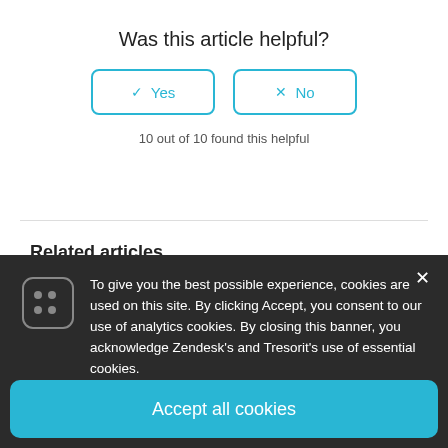Was this article helpful?
[Figure (screenshot): Two vote buttons: Yes (with checkmark) and No (with X), styled with cyan border]
10 out of 10 found this helpful
Related articles
Switching on Advanced Control
[Figure (screenshot): Cookie consent banner with dark background, cookie icon, close button, description text, and Accept all cookies button]
To give you the best possible experience, cookies are used on this site. By clicking Accept, you consent to our use of analytics cookies. By closing this banner, you acknowledge Zendesk's and Tresorit's use of essential cookies.
Accept all cookies